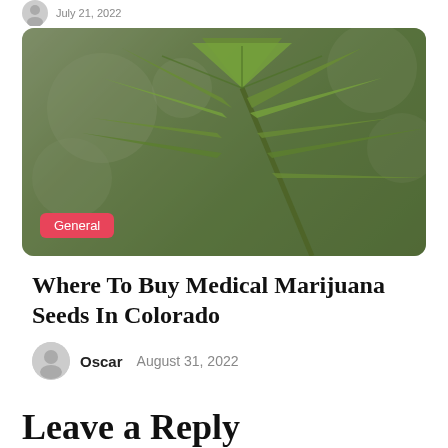[Figure (photo): Close-up photo of a cannabis marijuana leaf with a blurred bokeh green background. A pink/red badge labeled 'General' is overlaid on the lower left of the image.]
Where To Buy Medical Marijuana Seeds In Colorado
Oscar   August 31, 2022
Leave a Reply